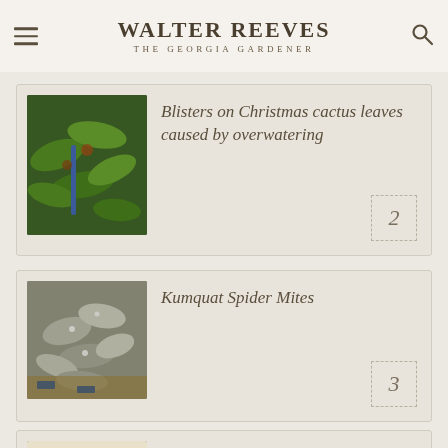WALTER REEVES — THE GEORGIA GARDENER
Blisters on Christmas cactus leaves caused by overwatering
2
Kumquat Spider Mites
3
Garting...G...